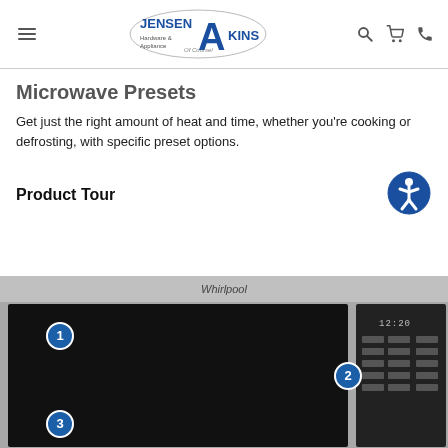Jensen Akins Hardware & Appliance — navigation header with logo, search, cart, phone icons
Microwave Presets
Get just the right amount of heat and time, whether you're cooking or defrosting, with specific preset options.
Product Tour
[Figure (photo): Whirlpool microwave product tour photo showing numbered callout badges 1, 2, and 3 on different parts of the microwave (door window, control panel, lower-left of door).]